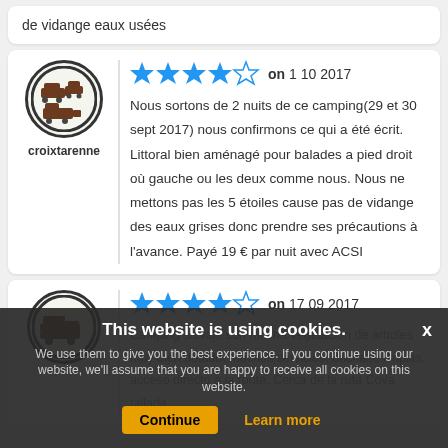de vidange eaux usées
★★★★☆ on 1 10 2017
croixtarenne
Nous sortons de 2 nuits de ce camping(29 et 30 sept 2017) nous confirmons ce qui a été écrit. Littoral bien aménagé pour balades a pied droit où gauche ou les deux comme nous. Nous ne mettons pas les 5 étoiles cause pas de vidange des eaux grises donc prendre ses précautions à l'avance. Payé 19 € par nuit avec ACSI
★★★★☆ on 17 09 2017
Camping salvaje con mucha vegetación de árboles muy bien dotado, muchos servicios, duchase limpias, acceso directo a la route. Cerca de la ruta Cova tallada
This website is using cookies. We use them to give you the best experience. If you continue using our website, we'll assume that you are happy to receive all cookies on this website.